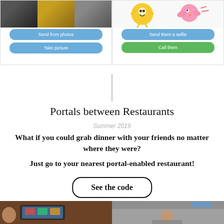[Figure (screenshot): Two mobile app screenshots side by side. Left shows a photo grid (dog, sea creature, colorful item) with two blue buttons: 'Send from photos' and 'Take picture'. Right shows cartoon sticker characters with two buttons: blue 'Send them a selfie' and green 'Call them'.]
Portals between Restaurants
Summer 2019
What if you could grab dinner with your friends no matter where they were?
Just go to your nearest portal-enabled restaurant!
See the code
[Figure (photo): Two photos at the bottom: left shows a tablet device being used, right shows an outdoor scene with a person.]